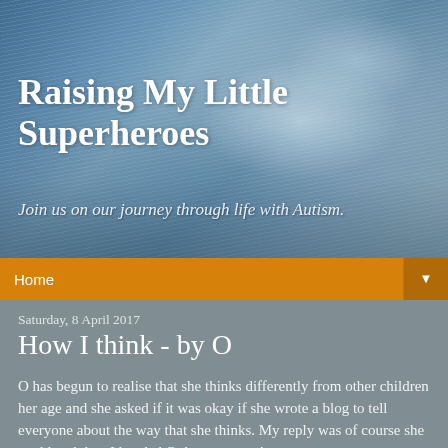[Figure (photo): Blue-gray stormy sky with rain streaks on glass or mountain clouds in background]
Raising My Little Superheroes
Join us on our journey through life with Autism.
Home ▼
Saturday, 8 April 2017
How I think - by O
O has begun to realise that she thinks differently from other children her age and she asked if it was okay if she wrote a blog to tell everyone about the way that she thinks. My reply was of course she could and then I handed O the computer!
[Figure (photo): Photo of a child lying down with light brown hair and a blue headband, resting on a beige/cream surface]